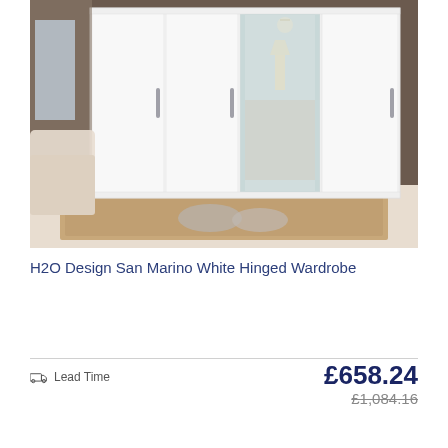[Figure (photo): White hinged wardrobe with mirror panels (H2O Design San Marino) shown in a bedroom setting with a rug and cushions on the floor.]
H2O Design San Marino White Hinged Wardrobe
Lead Time
£658.24
£1,084.16